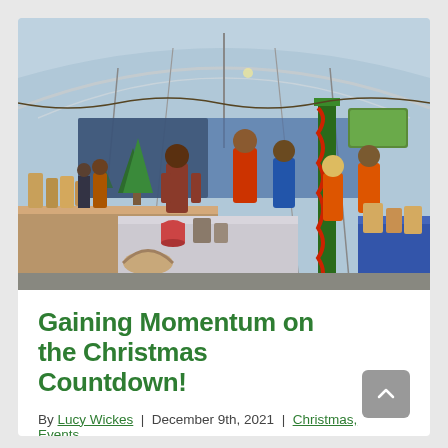[Figure (photo): Indoor Christmas market inside a large greenhouse/polytunnel. People browsing vendor stalls with Christmas trees, decorated columns with garlands, food and craft items on tables. Blue sky visible through the clear roof panels.]
Gaining Momentum on the Christmas Countdown!
By Lucy Wickes | December 9th, 2021 | Christmas, Events